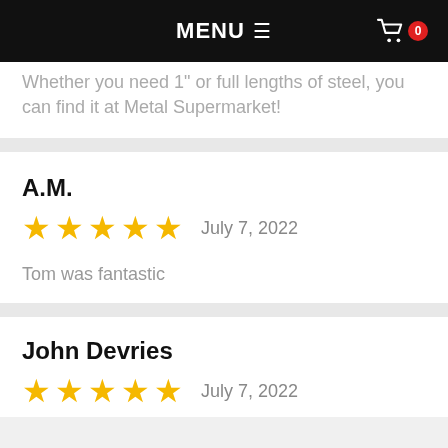MENU  ☰  [cart icon] 0
Whether you need 1" or full lengths of steel, you can find it at Metal Supermarket!
A.M.
★★★★★  July 7, 2022
Tom was fantastic
John Devries
★★★★★  July 7, 2022